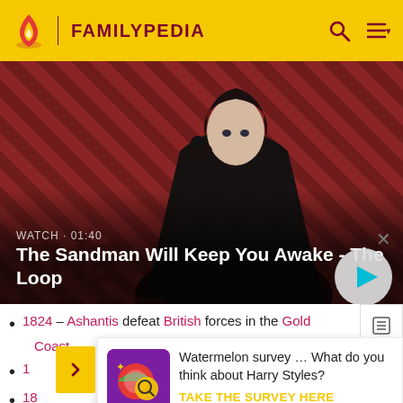FAMILYPEDIA
[Figure (photo): Promotional image for 'The Sandman Will Keep You Awake - The Loop' showing a pale figure in dark clothes with a raven on his shoulder against a red and dark diagonal striped background. WATCH · 01:40 label and play button visible.]
1824 – Ashantis defeat British forces in the Gold Coast
(partial, cut off)
18... (cut off)
[Figure (illustration): Survey popup with colorful icon showing watermelon/Harry Styles survey. Text: Watermelon survey … What do you think about Harry Styles? TAKE THE SURVEY HERE]